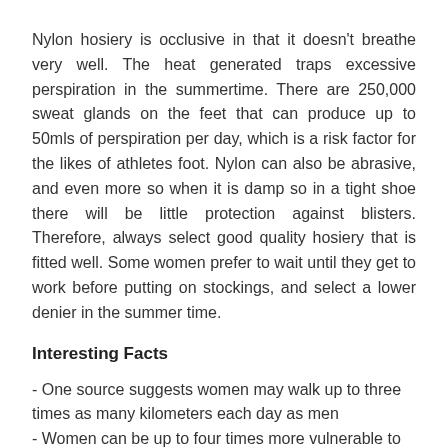Nylon hosiery is occlusive in that it doesn't breathe very well. The heat generated traps excessive perspiration in the summertime. There are 250,000 sweat glands on the feet that can produce up to 50mls of perspiration per day, which is a risk factor for the likes of athletes foot. Nylon can also be abrasive, and even more so when it is damp so in a tight shoe there will be little protection against blisters. Therefore, always select good quality hosiery that is fitted well. Some women prefer to wait until they get to work before putting on stockings, and select a lower denier in the summer time.
Interesting Facts
- One source suggests women may walk up to three times as many kilometers each day as men
- Women can be up to four times more vulnerable to certain foot problems than men